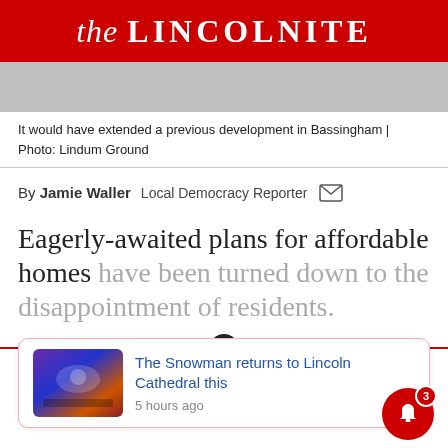the LINCOLNITE
[Figure (photo): Gray photo strip showing a building exterior in Bassingham]
It would have extended a previous development in Bassingham | Photo: Lindum Ground
By Jamie Waller  Local Democracy Reporter
Eagerly-awaited plans for affordable homes have been turned down to the disappointment of residents.
[Figure (infographic): Promotional card: The Snowman returns to Lincoln Cathedral this — 5 hours ago, with thumbnail photo of the event]